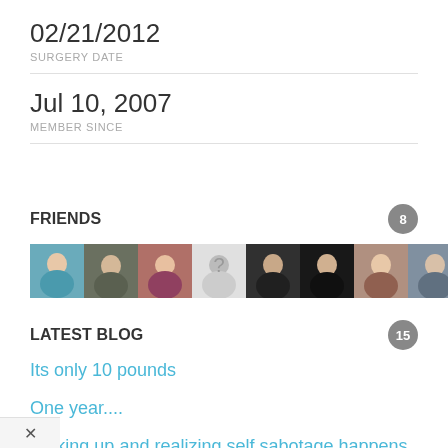02/21/2012
SURGERY DATE
Jul 10, 2007
MEMBER SINCE
FRIENDS
8
[Figure (photo): Row of 8 friend profile avatar photos]
LATEST BLOG
15
Its only 10 pounds
One year....
Waking up and realizing self sabotage happens even